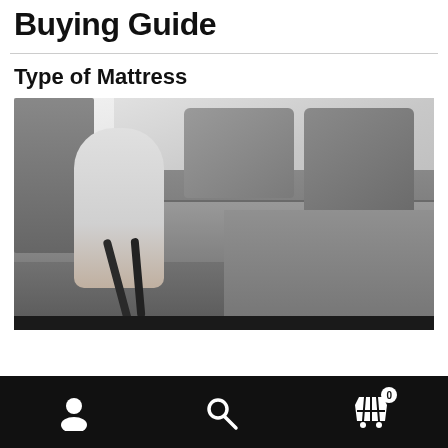Buying Guide
Type of Mattress
[Figure (photo): A person pulling metal straps on a grey fabric sofa/sectional to unfold it into a sofa bed, showing the mechanism.]
Navigation bar with user account icon, search icon, and shopping cart icon with badge showing 0